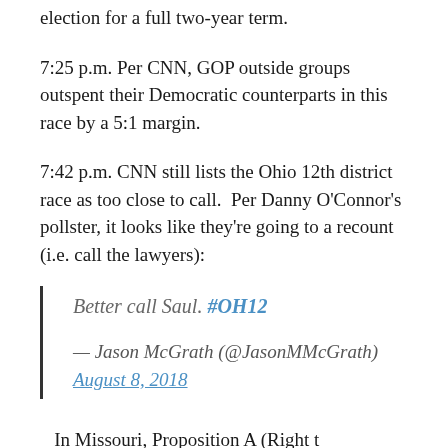election for a full two-year term.
7:25 p.m. Per CNN, GOP outside groups outspent their Democratic counterparts in this race by a 5:1 margin.
7:42 p.m. CNN still lists the Ohio 12th district race as too close to call.  Per Danny O'Connor's pollster, it looks like they're going to a recount (i.e. call the lawyers):
Better call Saul. #OH12
— Jason McGrath (@JasonMMcGrath) August 8, 2018
In Missouri, Proposition A (Right t...